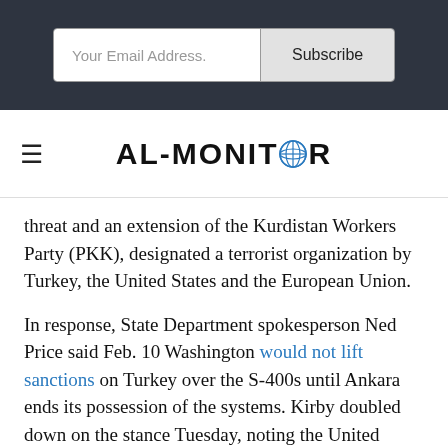[Figure (screenshot): Email subscription form with 'Your Email Address.' input field and 'Subscribe' button on dark navy background]
AL-MONITOR
threat and an extension of the Kurdistan Workers Party (PKK), designated a terrorist organization by Turkey, the United States and the European Union.
In response, State Department spokesperson Ned Price said Feb. 10 Washington would not lift sanctions on Turkey over the S-400s until Ankara ends its possession of the systems. Kirby doubled down on the stance Tuesday, noting the United States had offered Ankara NATO-compatible Patriot missile defense